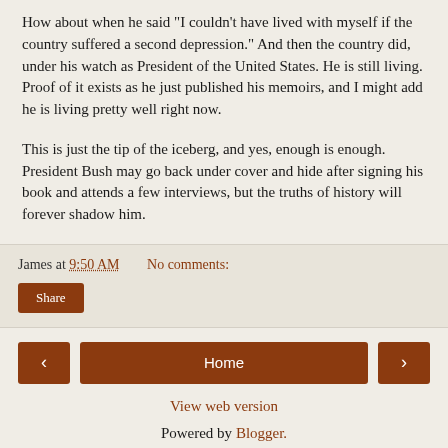How about when he said "I couldn't have lived with myself if the country suffered a second depression." And then the country did, under his watch as President of the United States. He is still living. Proof of it exists as he just published his memoirs, and I might add he is living pretty well right now.
This is just the tip of the iceberg, and yes, enough is enough. President Bush may go back under cover and hide after signing his book and attends a few interviews, but the truths of history will forever shadow him.
James at 9:50 AM    No comments:
Share
< Home >
View web version
Powered by Blogger.